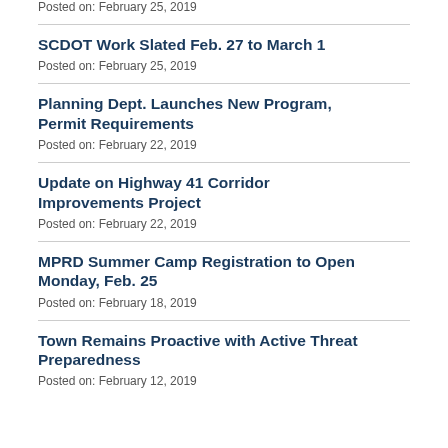Posted on: February 25, 2019
SCDOT Work Slated Feb. 27 to March 1
Posted on: February 25, 2019
Planning Dept. Launches New Program, Permit Requirements
Posted on: February 22, 2019
Update on Highway 41 Corridor Improvements Project
Posted on: February 22, 2019
MPRD Summer Camp Registration to Open Monday, Feb. 25
Posted on: February 18, 2019
Town Remains Proactive with Active Threat Preparedness
Posted on: February 12, 2019